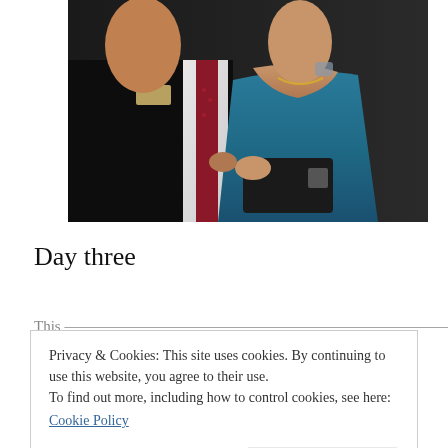[Figure (photo): Two people at a formal event: a man in a dark suit with a red tie on the left, and a woman in a teal/blue strapless dress holding a dark clutch purse on the right.]
Day three
Privacy & Cookies: This site uses cookies. By continuing to use this website, you agree to their use.
To find out more, including how to control cookies, see here:
Cookie Policy
was only about 5. This young man molested